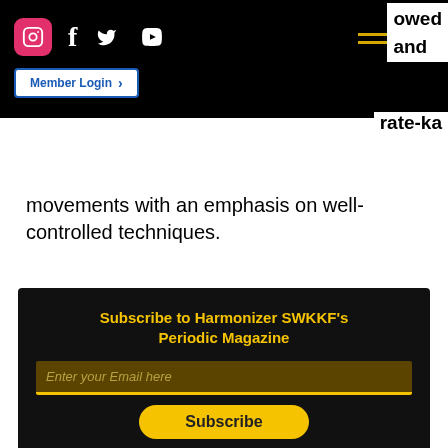Social media icons: Instagram, Facebook, Twitter, YouTube. Hamburger menu. Partial text: owed, and, rate-ka. Member Login button.
movements with an emphasis on well-controlled techniques.
Subscribe to Harmonizer SWKKF's Periodic Magazine
Enter your Email here
Subscribe
SWKKF Website.  Copyright ©2022.
[Figure (infographic): Social media icons row: Instagram (pink), Facebook, Twitter, YouTube in white on black background.]